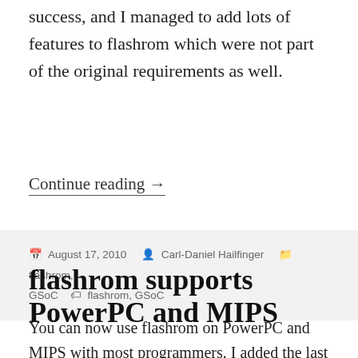success, and I managed to add lots of features to flashrom which were not part of the original requirements as well.
Continue reading →
August 17, 2010   Carl-Daniel Hailfinger   flashrom, GSoC   flashrom, GSoC
flashrom supports PowerPC and MIPS
You can now use flashrom on PowerPC and MIPS with most programmers. I added the last bit of infrastructure in version 0.9.2-r1111, and we got a f…